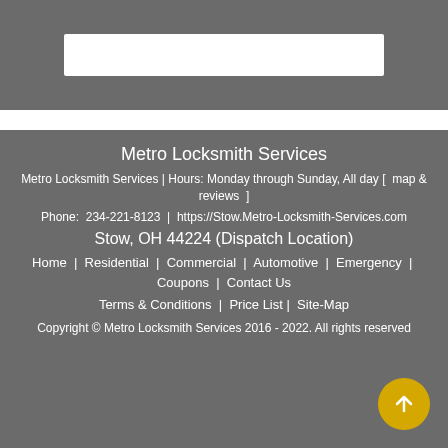[Figure (screenshot): Search bar input field with white background on grey header area]
Metro Locksmith Services
Metro Locksmith Services | Hours: Monday through Sunday, All day [  map & reviews  ]
Phone:  234-221-8123  |  https://Stow.Metro-Locksmith-Services.com
Stow, OH 44224 (Dispatch Location)
Home  |  Residential  |  Commercial  |  Automotive  |  Emergency  |  Coupons  |  Contact Us
Terms & Conditions  |  Price List |  Site-Map
Copyright © Metro Locksmith Services 2016 - 2022. All rights reserved